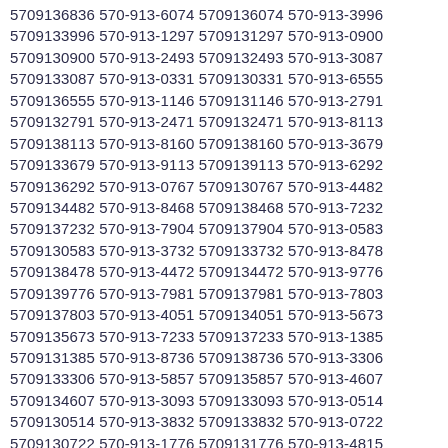5709136836 570-913-6074 5709136074 570-913-3996 5709133996 570-913-1297 5709131297 570-913-0900 5709130900 570-913-2493 5709132493 570-913-3087 5709133087 570-913-0331 5709130331 570-913-6555 5709136555 570-913-1146 5709131146 570-913-2791 5709132791 570-913-2471 5709132471 570-913-8113 5709138113 570-913-8160 5709138160 570-913-3679 5709133679 570-913-9113 5709139113 570-913-6292 5709136292 570-913-0767 5709130767 570-913-4482 5709134482 570-913-8468 5709138468 570-913-7232 5709137232 570-913-7904 5709137904 570-913-0583 5709130583 570-913-3732 5709133732 570-913-8478 5709138478 570-913-4472 5709134472 570-913-9776 5709139776 570-913-7981 5709137981 570-913-7803 5709137803 570-913-4051 5709134051 570-913-5673 5709135673 570-913-7233 5709137233 570-913-1385 5709131385 570-913-8736 5709138736 570-913-3306 5709133306 570-913-5857 5709135857 570-913-4607 5709134607 570-913-3093 5709133093 570-913-0514 5709130514 570-913-3832 5709133832 570-913-0722 5709130722 570-913-1776 5709131776 570-913-4815 5709134815 570-913-5581 5709135581 570-913-8302 5709138302 570-913-0471 5709130471 570-913-4924 5709134924 570-913-2549 5709132549 570-913-5232 5709135232 570-913-3876 5709133876 570-913-6039